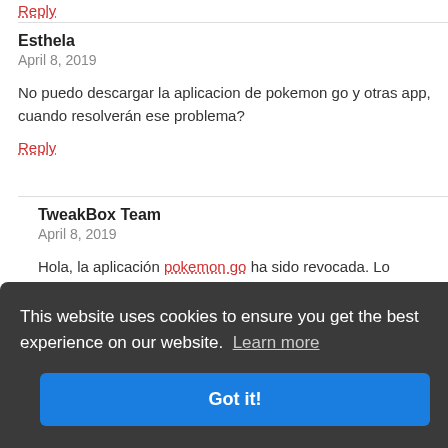Reply
Esthela
April 8, 2019
No puedo descargar la aplicacion de pokemon go y otras app, cuando resolverán ese problema?
Reply
TweakBox Team
April 8, 2019
Hola, la aplicación pokemon go ha sido revocada. Lo estamos arreglando y esperamos que se arregle en 24-48 horas
This website uses cookies to ensure you get the best experience on our website. Learn more
Got it!